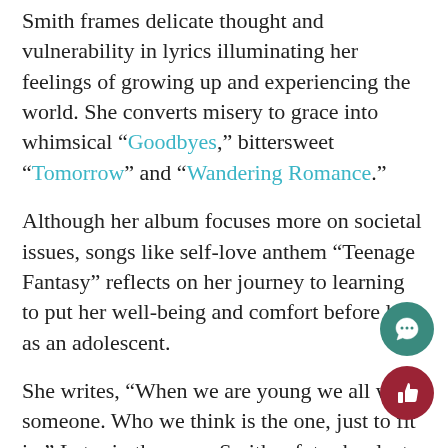Smith frames delicate thought and vulnerability in lyrics illuminating her feelings of growing up and experiencing the world. She converts misery to grace into whimsical “Goodbyes,” bittersweet “Tomorrow” and “Wandering Romance.”
Although her album focuses more on societal issues, songs like self-love anthem “Teenage Fantasy” reflects on her journey to learning to put her well-being and comfort before love as an adolescent.
She writes, “When we are young we all want someone. Who we think is the one, just to fit in.” Later in the song, Smith refutes her lust for love with the lyric, “I need to grow and find myself before I let somebody love me because at the moment I don’t know me.”
Throughout previous songs, Smith describes of the